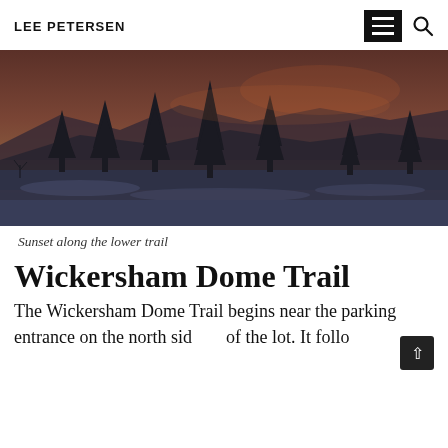LEE PETERSEN
[Figure (photo): Panoramic twilight/sunset photo of a snow-covered hillside with dark evergreen trees silhouetted against a dusky sky with mountains in the background.]
Sunset along the lower trail
Wickersham Dome Trail
The Wickersham Dome Trail begins near the parking entrance on the north side of the lot. It follows a wide, well-marked…